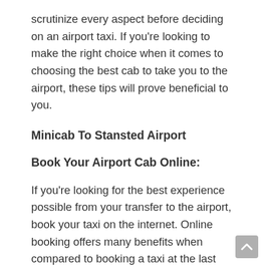scrutinize every aspect before deciding on an airport taxi. If you're looking to make the right choice when it comes to choosing the best cab to take you to the airport, these tips will prove beneficial to you.
Minicab To Stansted Airport
Book Your Airport Cab Online:
If you're looking for the best experience possible from your transfer to the airport, book your taxi on the internet. Online booking offers many benefits when compared to booking a taxi at the last moment. Nowadays, a lot of well-known cab companies have embraced online booking to